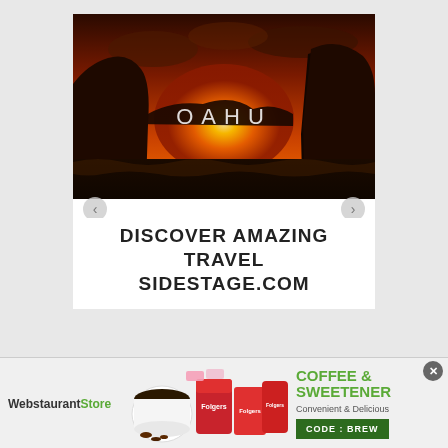[Figure (photo): Oahu sunset photo showing rocky cliffs, ocean, and bright orange sunset sky with 'OAHU' text overlay and navigation arrows below, followed by bold text 'DISCOVER AMAZING TRAVEL SIDESTAGE.COM']
DISCOVER AMAZING TRAVEL SIDESTAGE.COM
[Figure (infographic): WebstaurantStore banner advertisement featuring Folgers coffee products, text 'COFFEE & SWEETENER', 'Convenient & Delicious', and promo code button 'CODE: BREW']